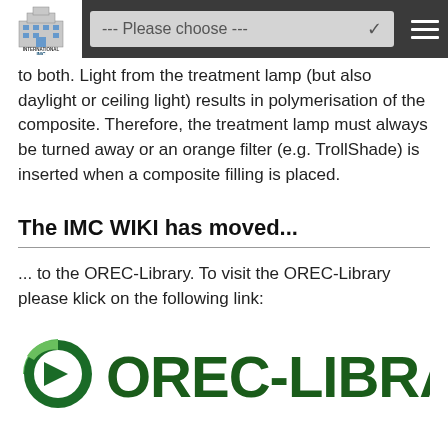--- Please choose ---
to both. Light from the treatment lamp (but also daylight or ceiling light) results in polymerisation of the composite. Therefore, the treatment lamp must always be turned away or an orange filter (e.g. TrollShade) is inserted when a composite filling is placed.
The IMC WIKI has moved...
... to the OREC-Library. To visit the OREC-Library please klick on the following link:
[Figure (logo): OREC-LIBRARY logo in dark green with a triangular arrow icon on the left]